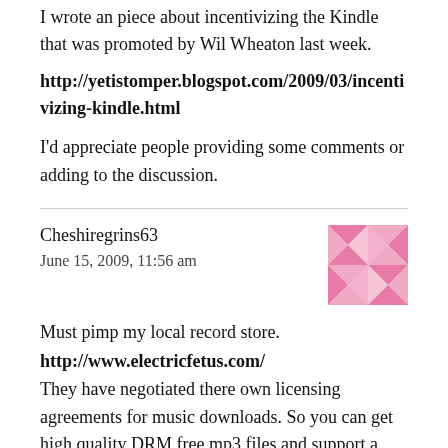I wrote an piece about incentivizing the Kindle that was promoted by Wil Wheaton last week.
http://yetistomper.blogspot.com/2009/03/incentivizing-kindle.html
I'd appreciate people providing some comments or adding to the discussion.
Cheshiregrins63
June 15, 2009, 11:56 am
[Figure (illustration): Pink decorative avatar icon with geometric snowflake/star pattern]
Must pimp my local record store.
http://www.electricfetus.com/
They have negotiated there own licensing agreements for music downloads. So you can get high quality DRM free mp3 files and support a (my) independent record store.